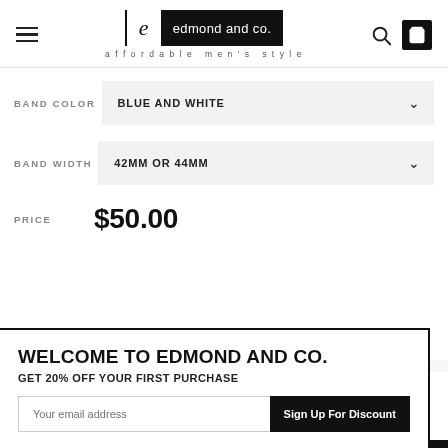edmond and co. — affordable men's style
BAND COLOR: BLUE AND WHITE
BAND WIDTH: 42MM OR 44MM
PRICE: $50.00
WELCOME TO EDMOND AND CO.
GET 20% OFF YOUR FIRST PURCHASE
Your email address
Sign Up For Discount